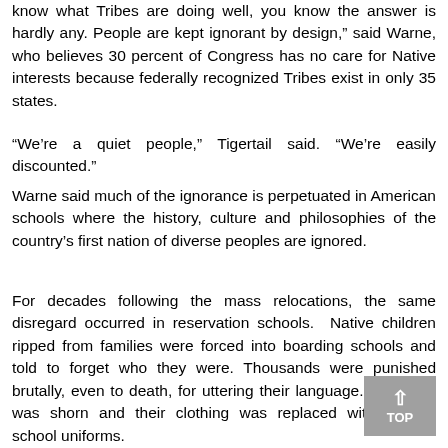know what Tribes are doing well, you know the answer is hardly any. People are kept ignorant by design," said Warne, who believes 30 percent of Congress has no care for Native interests because federally recognized Tribes exist in only 35 states.
“We’re a quiet people,” Tigertail said. “We’re easily discounted.”
Warne said much of the ignorance is perpetuated in American schools where the history, culture and philosophies of the country’s first nation of diverse peoples are ignored.
For decades following the mass relocations, the same disregard occurred in reservation schools. Native children ripped from families were forced into boarding schools and told to forget who they were. Thousands were punished brutally, even to death, for uttering their language. Their hair was shorn and their clothing was replaced with English school uniforms.